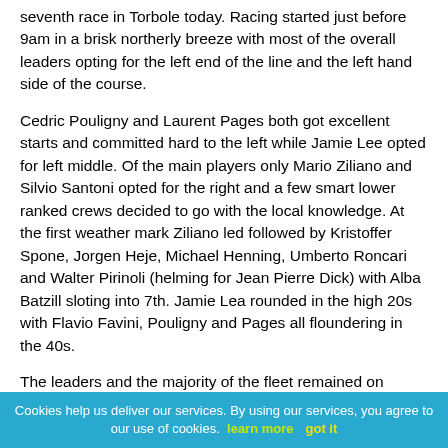seventh race in Torbole today. Racing started just before 9am in a brisk northerly breeze with most of the overall leaders opting for the left end of the line and the left hand side of the course.
Cedric Pouligny and Laurent Pages both got excellent starts and committed hard to the left while Jamie Lee opted for left middle. Of the main players only Mario Ziliano and Silvio Santoni opted for the right and a few smart lower ranked crews decided to go with the local knowledge. At the first weather mark Ziliano led followed by Kristoffer Spone, Jorgen Heje, Michael Henning, Umberto Roncari and Walter Pirinoli (helming for Jean Pierre Dick) with Alba Batzill sloting into 7th. Jamie Lea rounded in the high 20s with Flavio Favini, Pouligny and Pages all floundering in the 40s.
The leaders and the majority of the fleet remained on starboard after the hoist. Lea was the first to gybe away followed by Pouligny. By the bottom of the run Lea had pulled up to 10th and Pouligny and Pages had made it
Cookies help us deliver our services. By using our services, you agree to our use of cookies. learn more   got it